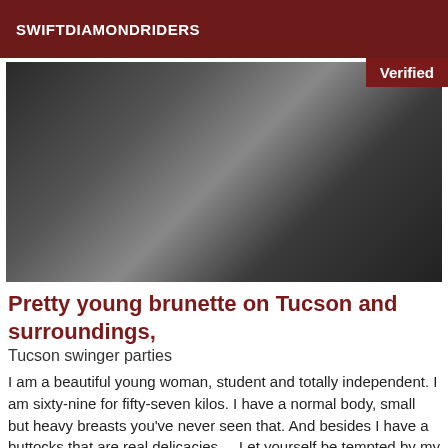SWIFTDIAMONDRIDERS
[Figure (photo): Photo of a young woman wearing fishnet stockings and dark lingerie, with a 'Verified' badge in the top right corner]
Pretty young brunette on Tucson and surroundings,
Tucson swinger parties
I am a beautiful young woman, student and totally independent. I am sixty-nine for fifty-seven kilos. I have a normal body, small but heavy breasts you've never seen that. And besides I have a buttocks that are real delicacies.... Let yourself be tempted by my charms. Very sensual I select my encounters: courtesy and